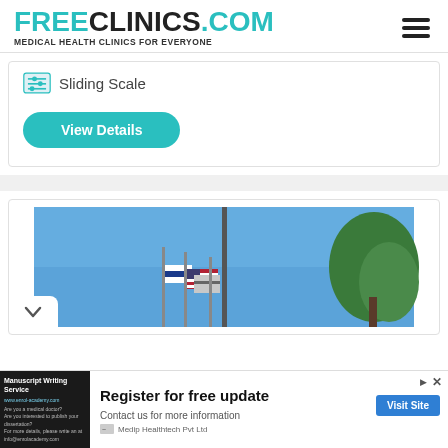FREECLINICS.COM Medical Health Clinics For Everyone
Sliding Scale
View Details
[Figure (photo): Outdoor photo showing blue sky, a flagpole with American and other flags, and a green tree on the right. A white chevron/down-arrow badge is visible in the lower-left corner.]
Register for free update
Contact us for more information
Visit Site
Manuscript Writing Service
Medip Healthtech Pvt Ltd